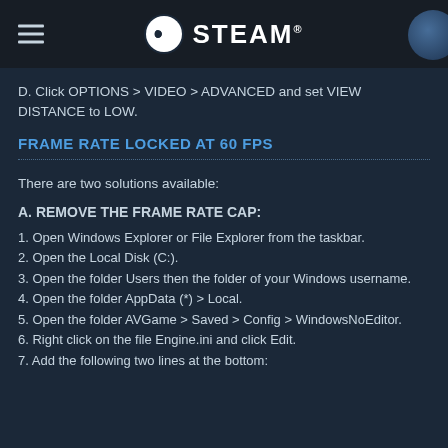STEAM
D. Click OPTIONS > VIDEO > ADVANCED and set VIEW DISTANCE to LOW.
FRAME RATE LOCKED AT 60 FPS
There are two solutions available:
A. REMOVE THE FRAME RATE CAP:
1. Open Windows Explorer or File Explorer from the taskbar.
2. Open the Local Disk (C:).
3. Open the folder Users then the folder of your Windows username.
4. Open the folder AppData (*) > Local.
5. Open the folder AVGame > Saved > Config > WindowsNoEditor.
6. Right click on the file Engine.ini and click Edit.
7. Add the following two lines at the bottom: